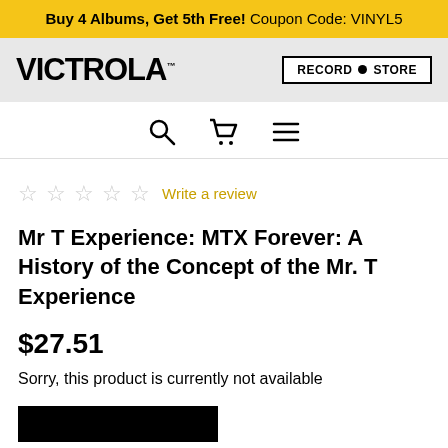Buy 4 Albums, Get 5th Free! Coupon Code: VINYL5
[Figure (logo): Victrola logo on grey background with Record Store button]
[Figure (other): Navigation icons: search, cart, hamburger menu]
Write a review
Mr T Experience: MTX Forever: A History of the Concept of the Mr. T Experience
$27.51
Sorry, this product is currently not available